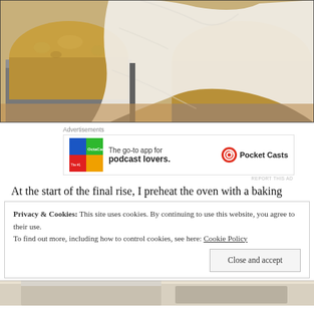[Figure (photo): Close-up photo of bread dough rising in metal baking pans covered with a white cloth, on a wooden surface]
Advertisements
[Figure (other): Pocket Casts advertisement: logo with colored squares, text 'The go-to app for podcast lovers.' and Pocket Casts logo]
REPORT THIS AD
At the start of the final rise, I preheat the oven with a baking
Privacy & Cookies: This site uses cookies. By continuing to use this website, you agree to their use.
To find out more, including how to control cookies, see here: Cookie Policy
[Figure (photo): Partial bottom photo showing bread or baked goods]